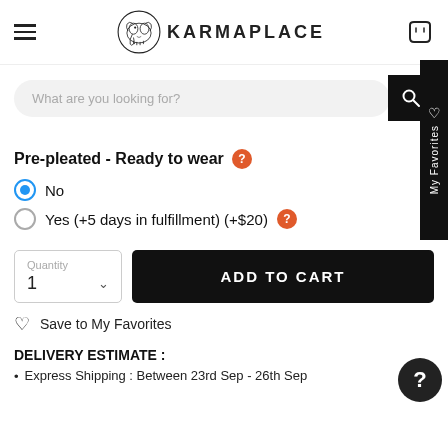KARMAPLACE
What are you looking for?
Pre-pleated - Ready to wear
No
Yes (+5 days in fulfillment) (+$20)
Quantity 1
ADD TO CART
Save to My Favorites
DELIVERY ESTIMATE :
Express Shipping : Between 23rd Sep - 26th Sep